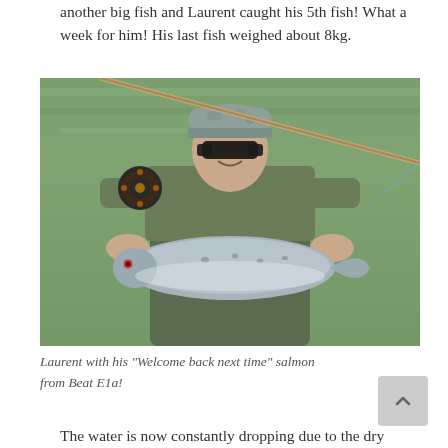another big fish and Laurent caught his 5th fish! What a week for him! His last fish weighed about 8kg.
[Figure (photo): A man wearing a camouflage cap, sunglasses, and a green long-sleeve shirt with waders, kneeling by a river and holding a large salmon. A fly fishing rod is visible behind him, with rocky, green-tinted water in the background.]
Laurent with his "Welcome back next time" salmon from Beat E1a!
The water is now constantly dropping due to the dry